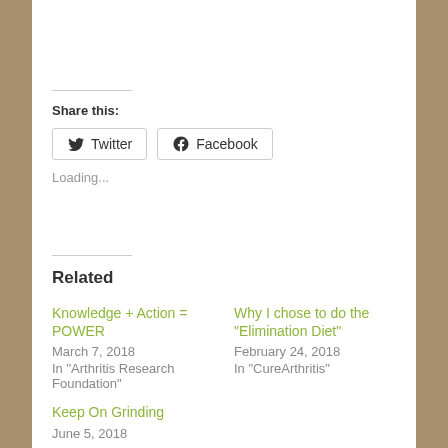Share this:
Twitter  Facebook
Loading...
Related
Knowledge + Action = POWER
March 7, 2018
In "Arthritis Research Foundation"
Why I chose to do the "Elimination Diet"
February 24, 2018
In "CureArthritis"
Keep On Grinding
June 5, 2018